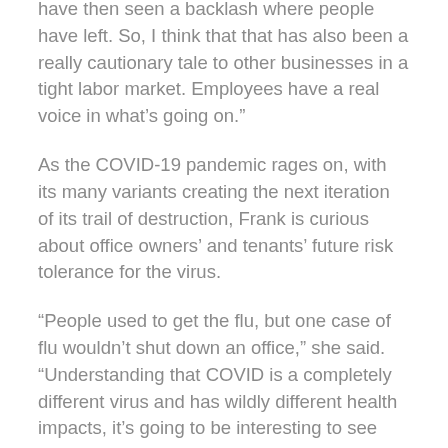have then seen a backlash where people have left. So, I think that that has also been a really cautionary tale to other businesses in a tight labor market. Employees have a real voice in what’s going on.”
As the COVID-19 pandemic rages on, with its many variants creating the next iteration of its trail of destruction, Frank is curious about office owners’ and tenants’ future risk tolerance for the virus.
“People used to get the flu, but one case of flu wouldn’t shut down an office,” she said. “Understanding that COVID is a completely different virus and has wildly different health impacts, it’s going to be interesting to see what our tolerance is for this as a risk going forward.